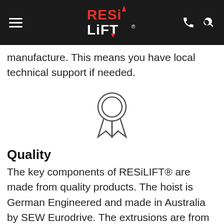RESiLIFT logo and navigation header
manufacture.  This means you have local technical support if needed.
[Figure (illustration): Award/quality ribbon badge icon (outline style)]
Quality
The key components of RESiLIFT® are made from quality products.  The hoist is German Engineered and made in Australia by SEW Eurodrive.  The extrusions are from Ullrich and all other components are manufactured in Tasmania